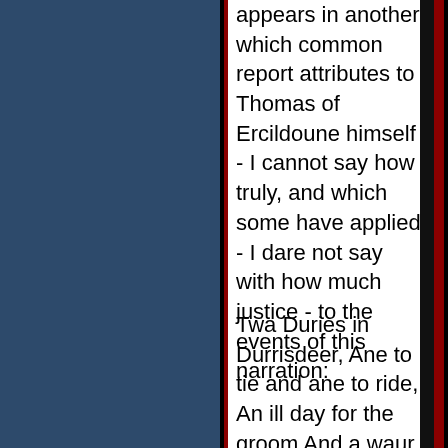appears in another, which common report attributes to Thomas of Ercildoune himself - I cannot say how truly, and which some have applied - I dare not say with how much justice - to the events of this narration:
Twa Duries in Durrisdeer, Ane to tie and ane to ride, An ill day for the groom And a waur day for the bride.